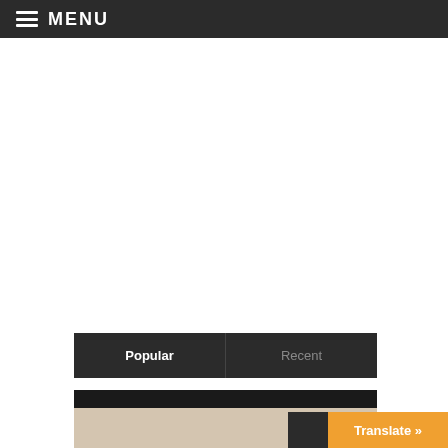MENU
Popular | Recent
[Figure (photo): A dark banner area with a partial photo of a person visible at the bottom]
Translate »